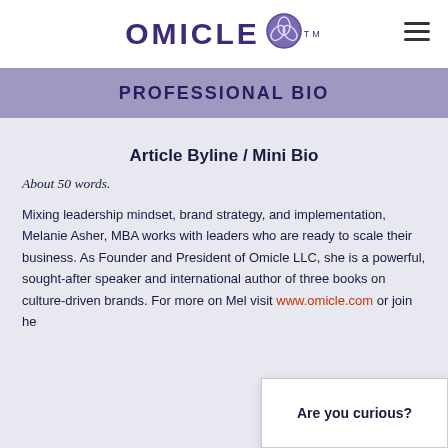OMICLE
PROFESSIONAL BIO
Article Byline / Mini Bio
About 50 words.
Mixing leadership mindset, brand strategy, and implementation, Melanie Asher, MBA works with leaders who are ready to scale their business. As Founder and President of Omicle LLC, she is a powerful, sought-after speaker and international author of three books on culture-driven brands. For more on Mel… visit www.omicle.com or join he… to Scale.
Are you curious?